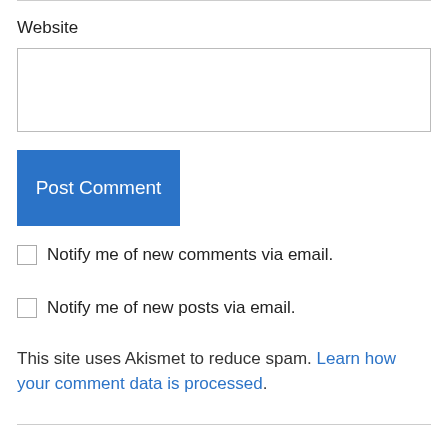Website
Post Comment
Notify me of new comments via email.
Notify me of new posts via email.
This site uses Akismet to reduce spam. Learn how your comment data is processed.
Pingback: What If Lisa Had All The Power And Picked The Oscar Nominees: 2015 Edition | Through the Shattered Lens